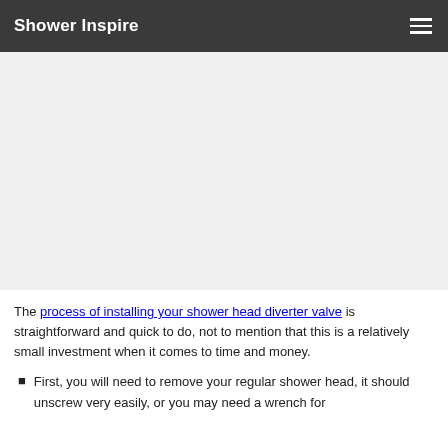Shower Inspire
[Figure (other): Advertisement or placeholder image area (blank gray region)]
The process of installing your shower head diverter valve is straightforward and quick to do, not to mention that this is a relatively small investment when it comes to time and money.
First, you will need to remove your regular shower head, it should unscrew very easily, or you may need a wrench for